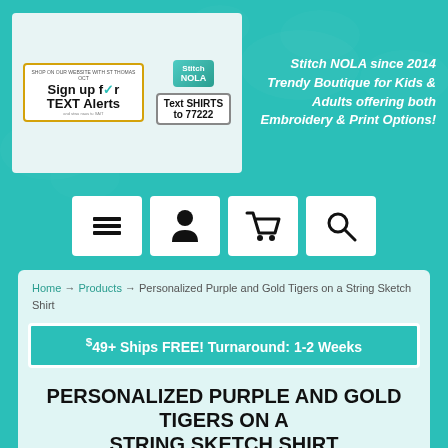[Figure (logo): Stitch NOLA logo with 'Sign up for Text Alerts' and 'Text SHIRTS to 77222' promotional banner]
Stitch NOLA since 2014 Trendy Boutique for Kids & Adults offering both Embroidery & Print Options!
[Figure (screenshot): Navigation icons: hamburger menu, user/person icon, shopping cart, search magnifying glass]
Home → Products → Personalized Purple and Gold Tigers on a String Sketch Shirt
$49+ Ships FREE! Turnaround: 1-2 Weeks
PERSONALIZED PURPLE AND GOLD TIGERS ON A STRING SKETCH SHIRT
[Figure (photo): Bottom strip showing partial product photo]